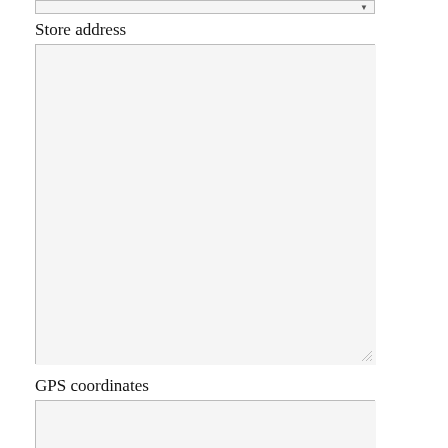[Figure (screenshot): Dropdown selector input field with arrow indicator at top of page]
Store address
[Figure (screenshot): Large empty textarea input field for store address with resize handle at bottom right]
GPS coordinates
[Figure (screenshot): Empty textarea input field for GPS coordinates, partially visible at bottom of page]